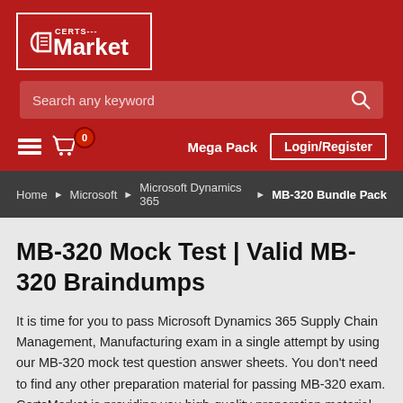[Figure (logo): CertsMarket logo with scroll icon in a white border box on red background]
Search any keyword
Mega Pack  Login/Register  (cart icon with 0)
Home ▶ Microsoft ▶ Microsoft Dynamics 365 ▶ MB-320 Bundle Pack
MB-320 Mock Test | Valid MB-320 Braindumps
It is time for you to pass Microsoft Dynamics 365 Supply Chain Management, Manufacturing exam in a single attempt by using our MB-320 mock test question answer sheets. You don't need to find any other preparation material for passing MB-320 exam. CertsMarket is providing you high-quality preparation material that will allow you to prepare for the Microsoft Dynamics 365...